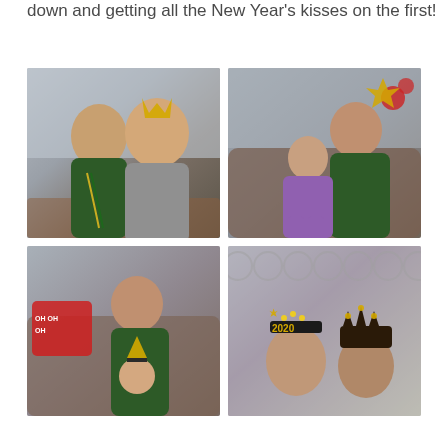down and getting all the New Year's kisses on the first!
[Figure (photo): A couple smiling together; the woman wears a gold crown/tiara on her head and both are dressed casually at what appears to be a New Year's party.]
[Figure (photo): A man sitting on a couch holding a young girl dressed in a purple outfit with a red bow headband; New Year's decorations visible in background.]
[Figure (photo): A man sitting on a couch with a toddler wearing a small party hat; red pillow with 'Oh Oh Oh' text visible in background.]
[Figure (photo): Two women wearing '2020' New Year's tiaras/headbands with lights and decorations; gray patterned background.]